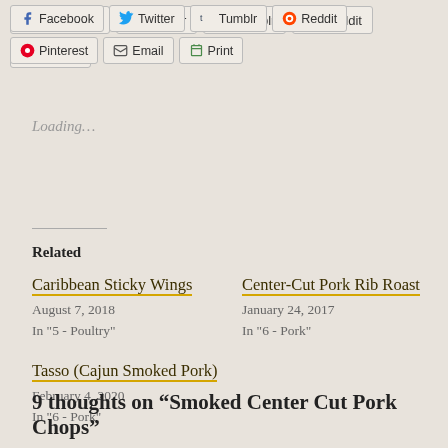[Figure (screenshot): Social share buttons: Facebook, Twitter, Tumblr, Reddit in top row; Pinterest, Email, Print in second row]
Loading...
Related
Caribbean Sticky Wings
August 7, 2018
In "5 - Poultry"
Center-Cut Pork Rib Roast
January 24, 2017
In "6 - Pork"
Tasso (Cajun Smoked Pork)
February 4, 2020
In "6 - Pork"
9 thoughts on “Smoked Center Cut Pork Chops”